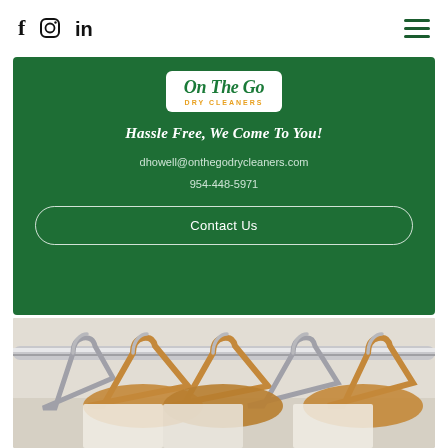f  instagram  in  [hamburger menu]
[Figure (logo): On The Go Dry Cleaners logo — green italic script on white background with orange 'DRY CLEANERS' subtitle]
Hassle Free, We Come To You!
dhowell@onthegodrycleaners.com
954-448-5971
Contact Us
[Figure (photo): Wooden and metal clothing hangers on a chrome rail against a light background — dry cleaning setting]